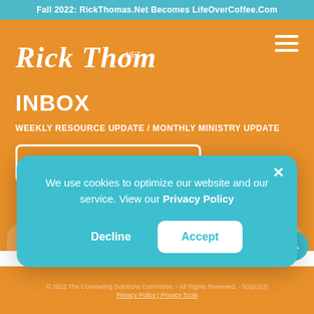Fall 2022: RickThomas.Net Becomes LifeOverCoffee.Com
[Figure (logo): Rick Thomas .NET handwritten logo in white italic script on orange background]
INBOX
WEEKLY RESOURCE UPDATE / MONTHLY MINISTRY UPDATE
SIGN UP NOW
[Figure (infographic): Cookie consent modal popup with teal background. Text: We use cookies to optimize our website and our service. View our Privacy Policy. Buttons: Decline and Accept.]
© 2022 The Counseling Solutions Committee. - All Rights Reserved. - 501(c)(3)
Privacy Policy | Privacy Tools